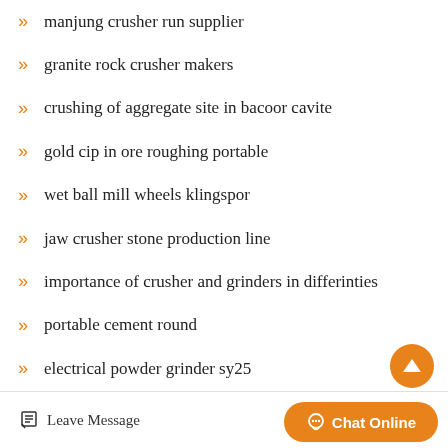manjung crusher run supplier
granite rock crusher makers
crushing of aggregate site in bacoor cavite
gold cip in ore roughing portable
wet ball mill wheels klingspor
jaw crusher stone production line
importance of crusher and grinders in differinties
portable cement round
electrical powder grinder sy25
Large Feeding Size Quartz Pf S...
Leave Message  Chat Online